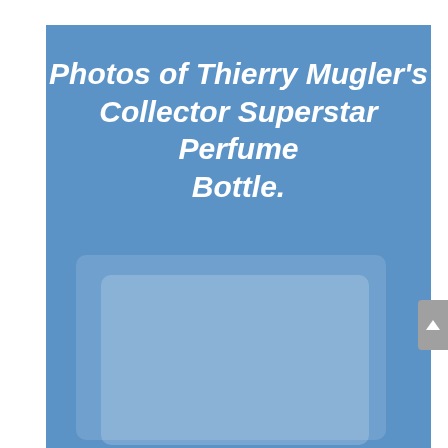Photos of Thierry Mugler's Collector Superstar Perfume Bottle.
[Figure (photo): Blue background with faint outlines of perfume bottle collector cards/photos shown in a stacked arrangement]